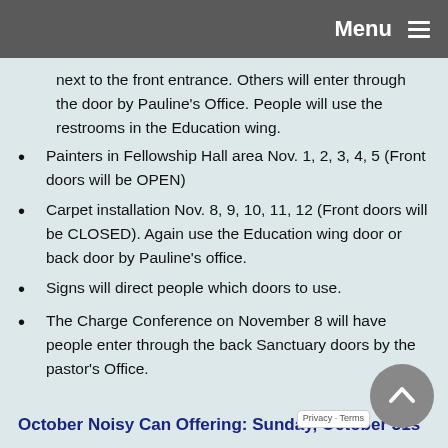Menu ≡
next to the front entrance. Others will enter through the door by Pauline's Office. People will use the restrooms in the Education wing.
Painters in Fellowship Hall area Nov. 1, 2, 3, 4, 5 (Front doors will be OPEN)
Carpet installation Nov. 8, 9, 10, 11, 12 (Front doors will be CLOSED). Again use the Education wing door or back door by Pauline's office.
Signs will direct people which doors to use.
The Charge Conference on November 8 will have people enter through the back Sanctuary doors by the pastor's Office.
October Noisy Can Offering: Sunday, October 31s
This Noisy Can Offering will support a clean water project for